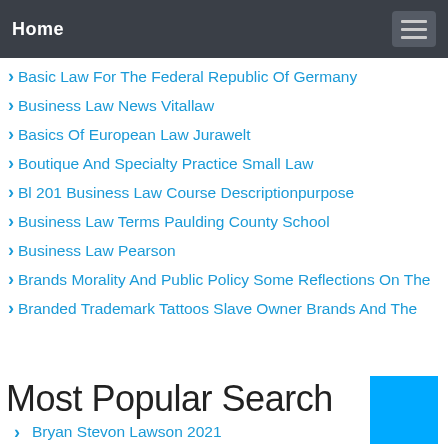Home
Basic Law For The Federal Republic Of Germany
Business Law News Vitallaw
Basics Of European Law Jurawelt
Boutique And Specialty Practice Small Law
Bl 201 Business Law Course Descriptionpurpose
Business Law Terms Paulding County School
Business Law Pearson
Brands Morality And Public Policy Some Reflections On The
Branded Trademark Tattoos Slave Owner Brands And The
Most Popular Search
Bryan Stevon Lawson 2021